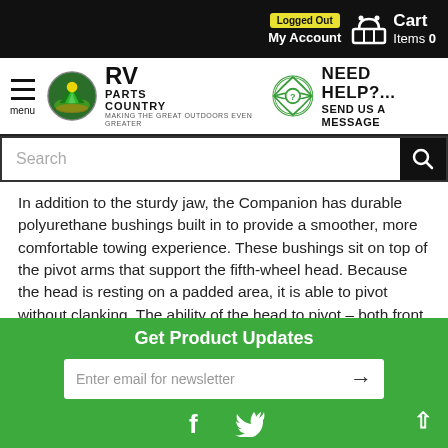Logged Out | My Account | Cart Items 0
[Figure (logo): RV Parts Country logo with hamburger menu and Need Help? Send Us A Message button]
Search
In addition to the sturdy jaw, the Companion has durable polyurethane bushings built in to provide a smoother, more comfortable towing experience. These bushings sit on top of the pivot arms that support the fifth-wheel head. Because the head is resting on a padded area, it is able to pivot without clanking. The ability of the head to pivot – both front to back and side to side – along with the trailer also helps to limit the chucking that may occur with a more static hitch.
Get Product Updates
Enter email for newsletter